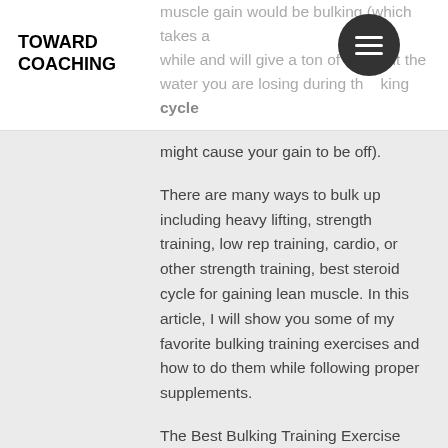TOWARD COACHING
muscle gain would be bulking (which takes a while and will give a ton of muscle but the water you are losing during the bulking cycle might cause your gain to be off).
There are many ways to bulk up including heavy lifting, strength training, low rep training, cardio, or other strength training, best steroid cycle for gaining lean muscle. In this article, I will show you some of my favorite bulking training exercises and how to do them while following proper supplements.
The Best Bulking Training Exercise
Squatting to failure. Doing this will build strength, tone and burn a lot of fat because you are lifting a lot of weight, best steroid cycle for bulking for beginners. It will burn a lot of fat while building strength and muscle, for bulking steroid for beginners best cycle. The more weight you can take and still